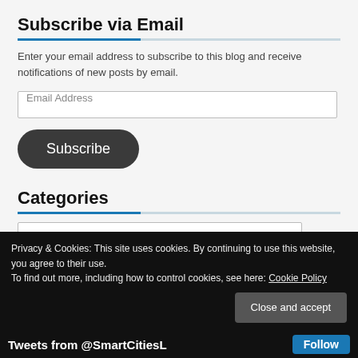Subscribe via Email
Enter your email address to subscribe to this blog and receive notifications of new posts by email.
[Figure (screenshot): Email Address input field (text box) with placeholder text 'Email Address']
[Figure (screenshot): Subscribe button - dark rounded rectangle button with white text 'Subscribe']
Categories
[Figure (screenshot): Dropdown select box showing 'Microsoft' with a chevron/arrow on the right]
Privacy & Cookies: This site uses cookies. By continuing to use this website, you agree to their use.
To find out more, including how to control cookies, see here: Cookie Policy
[Figure (screenshot): Close and accept button - grey rounded rectangle button]
Tweets from @SmartCitiesL
Follow